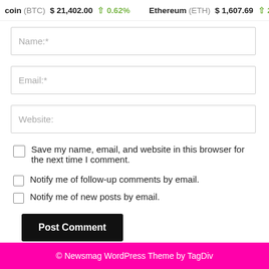coin (BTC)  $21,402.00  ↑0.62%   Ethereum (ETH)  $1,607.69  ↑2.52
Name:*
Email:*
Website:
Save my name, email, and website in this browser for the next time I comment.
Notify me of follow-up comments by email.
Notify me of new posts by email.
Post Comment
© Newsmag WordPress Theme by TagDiv